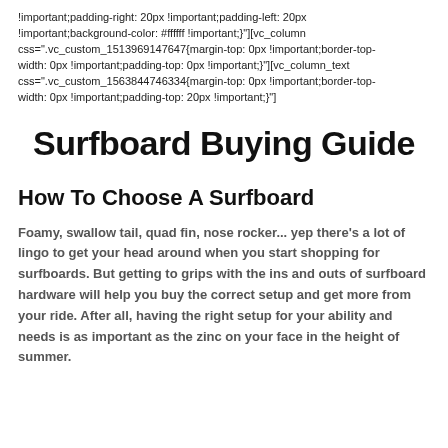!important;padding-right: 20px !important;padding-left: 20px !important;background-color: #ffffff !important;}"][vc_column css=".vc_custom_1513969147647{margin-top: 0px !important;border-top-width: 0px !important;padding-top: 0px !important;}"][vc_column_text css=".vc_custom_1563844746334{margin-top: 0px !important;border-top-width: 0px !important;padding-top: 20px !important;}"]
Surfboard Buying Guide
How To Choose A Surfboard
Foamy, swallow tail, quad fin, nose rocker... yep there’s a lot of lingo to get your head around when you start shopping for surfboards. But getting to grips with the ins and outs of surfboard hardware will help you buy the correct setup and get more from your ride. After all, having the right setup for your ability and needs is as important as the zinc on your face in the height of summer.